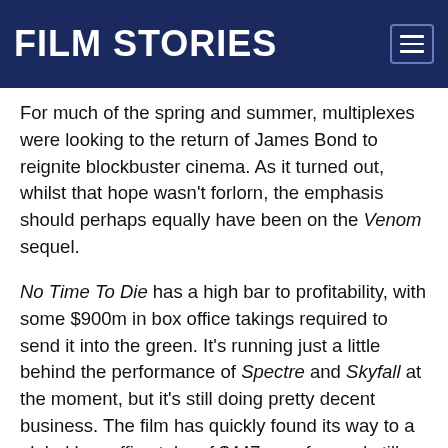FILM STORIES
For much of the spring and summer, multiplexes were looking to the return of James Bond to reignite blockbuster cinema. As it turned out, whilst that hope wasn't forlorn, the emphasis should perhaps equally have been on the Venom sequel.
No Time To Die has a high bar to profitability, with some $900m in box office takings required to send it into the green. It's running just a little behind the performance of Spectre and Skyfall at the moment, but it's still doing pretty decent business. The film has quickly found its way to a global box office take of $447m so far, and still has a fair few places it hasn't yet opened. Whilst it's likely to fall a little short of $900m, it won't be by much.
The juggernaut of the year though now looks like being the Tom Hardy-headlined Venom: Let There Be Carnage. The sequel – that Sony briefly considered